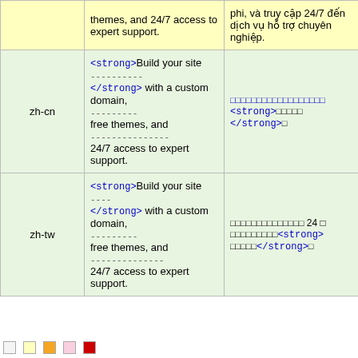|  |  |  |  |
| --- | --- | --- | --- |
|  | themes, and 24/7 access to expert support. | phi, và truy cập 24/7 đến dịch vụ hỗ trợ chuyên nghiệp. |  |
| zh-cn | <strong>Build your site ---------- </strong> with a custom domain, --------- free themes, and --------------- 24/7 access to expert support. | □□□□□□□□□□□□□□□□□□ <strong>□□□□□ </strong>□ | Details |
| zh-tw | <strong>Build your site ---- </strong> with a custom domain, --------- free themes, and -------------- 24/7 access to expert support. | □□□□□□□□□□□□□□ 24 □ □□□□□□□□□<strong> □□□□□</strong>□ | Details |
Legend row with color swatches at bottom